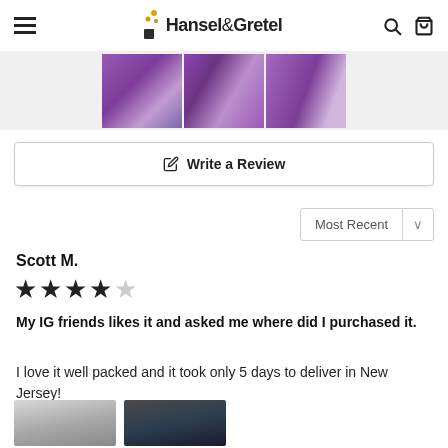Hansel & Gretel
[Figure (photo): Three purple fabric/bedding thumbnail images in a horizontal strip]
✎ Write a Review
Most Recent ∨
Scott M.
★★★★☆ (4 out of 5 stars)
My IG friends likes it and asked me where did I purchased it.
I love it well packed and it took only 5 days to deliver in New Jersey!
[Figure (photo): Two review photo thumbnails showing bedroom/bedding scenes]